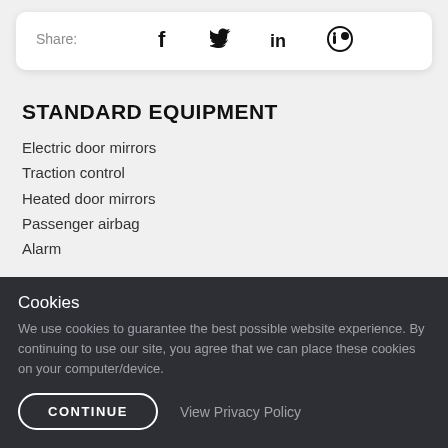Share: [Facebook] [Twitter] [LinkedIn] [Crunchbase]
STANDARD EQUIPMENT
Electric door mirrors
Traction control
Heated door mirrors
Passenger airbag
Alarm
Cookies
We use cookies to guarantee the best possible website experience. By continuing to use our site, you agree that we can place these cookies on your computer/device.
CONTINUE   View Privacy Policy